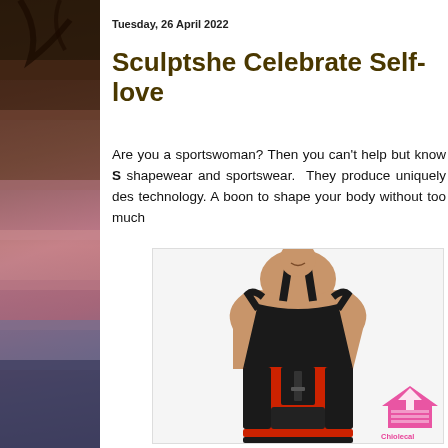[Figure (photo): Left sidebar photo showing blurred dark outdoor/nature background with pink tones]
Tuesday, 26 April 2022
Sculptshe Celebrate Self-love
Are you a sportswoman? Then you can't help but know S shapewear and sportswear. They produce uniquely des technology. A boon to shape your body without too much
[Figure (photo): Woman wearing a red and black waist trainer/shapewear belt over a black sports top, shown from shoulders to waist]
[Figure (logo): Chiolecal logo — pink house/arrow icon with text]